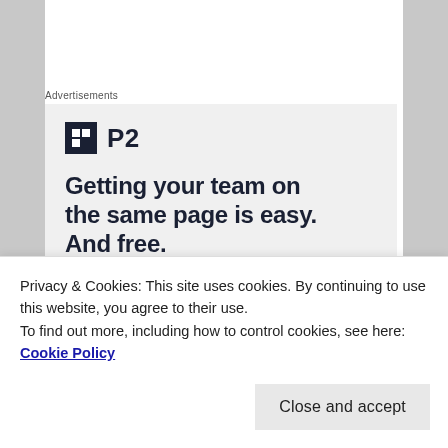Advertisements
[Figure (illustration): P2 advertisement: logo with dark square icon and 'P2' text, headline reads 'Getting your team on the same page is easy. And free.']
[Figure (photo): Partial view of a comment area with a partially visible profile photo]
Privacy & Cookies: This site uses cookies. By continuing to use this website, you agree to their use.
To find out more, including how to control cookies, see here: Cookie Policy
Close and accept
it is now a must for me. I don't let myself question